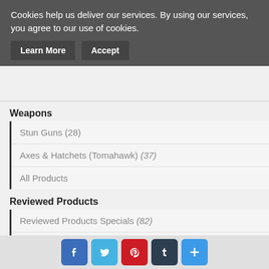Cookies help us deliver our services. By using our services, you agree to our use of cookies.
Learn More | Accept
Weapons
Stun Guns (28)
Axes & Hatchets (Tomahawk) (37)
All Products
Reviewed Products
Reviewed Products Specials (82)
All Products
Newsletter
[Figure (infographic): Social media share buttons: Facebook, Twitter, Pinterest, Tumblr, and a plus/more button]